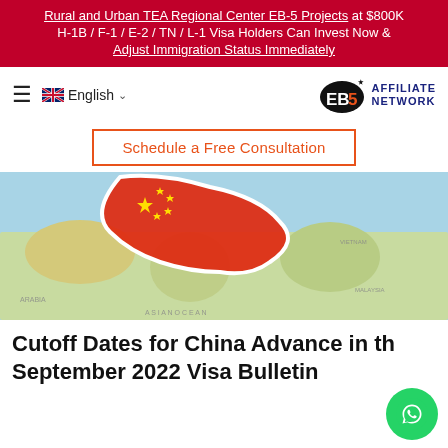Rural and Urban TEA Regional Center EB-5 Projects at $800K
H-1B / F-1 / E-2 / TN / L-1 Visa Holders Can Invest Now & Adjust Immigration Status Immediately
[Figure (logo): EB5 Affiliate Network logo with US map shape and text]
≡  🇬🇧 English ∨
Schedule a Free Consultation
[Figure (photo): China flag overlaid on a world map showing Asia region]
Cutoff Dates for China Advance in the September 2022 Visa Bulletin